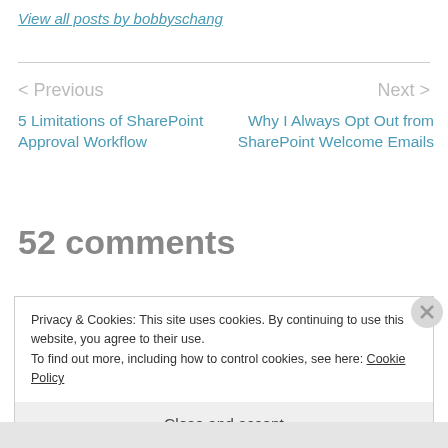View all posts by bobbyschang
< Previous
Next >
5 Limitations of SharePoint Approval Workflow
Why I Always Opt Out from SharePoint Welcome Emails
52 comments
Privacy & Cookies: This site uses cookies. By continuing to use this website, you agree to their use.
To find out more, including how to control cookies, see here: Cookie Policy
Close and accept